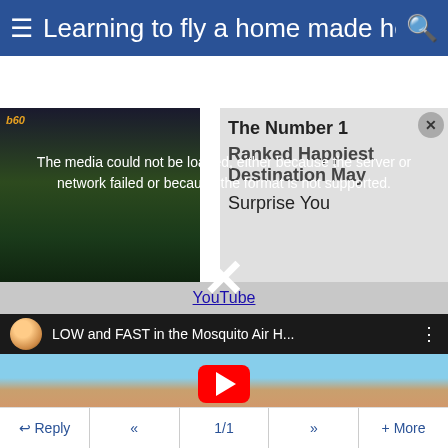≡ Learning to fly a home made hel... 🔍
[Figure (screenshot): Media error message overlay on video thumbnail with city lights background. Text reads: The media could not be loaded, either because the server or network failed or because the format is not supported.]
[Figure (screenshot): Advertisement overlay with text: The Number 1 Ranked Happiest Destination May Surprise You]
YouTube
[Figure (screenshot): YouTube video embed showing 'LOW and FAST in the Mosquito Air H...' with a play button, showing a person with helicopter rotor above and sandy landscape background.]
↩ Reply  «  1/1  »  + More